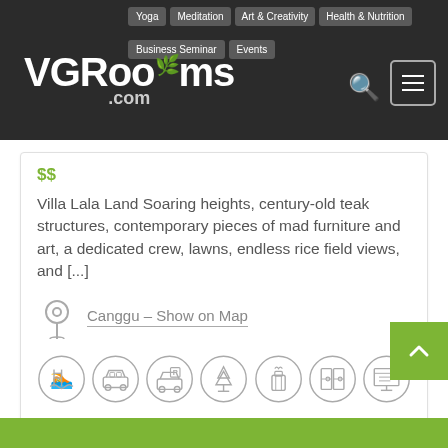VGRooms.com — Yoga | Meditation | Art & Creativity | Health & Nutrition | Business Seminar | Events
$$
Villa Lala Land Soaring heights, century-old teak structures, contemporary pieces of mad furniture and art, a dedicated crew, lawns, endless rice field views, and [...]
Canggu – Show on Map
[Figure (infographic): Row of 7 circular amenity icons: swimming pool, taxi/car, parking, nature/garden, gas/bbq, lockers/storage, presentation/whiteboard]
Book now
See Details